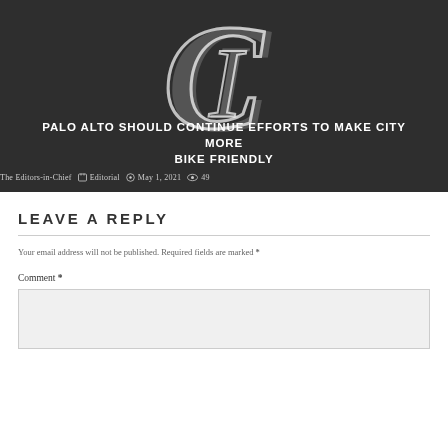[Figure (illustration): Dark hero banner with a stylized newspaper logo (large C with I inside) in white on dark gray background. Article title overlaid in white bold uppercase text. Below the logo: 'PALO ALTO SHOULD CONTINUE EFFORTS TO MAKE CITY MORE BIKE FRIENDLY'. Meta line: 'The Editors-in-Chief | Editorial | May 1, 2021 | 49 views']
LEAVE A REPLY
Your email address will not be published. Required fields are marked *
Comment *